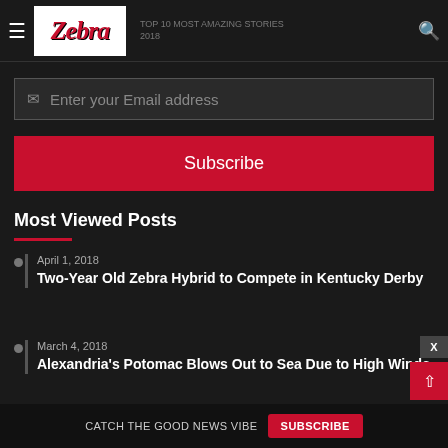Zebra [navigation logo and menu]
Enter your Email address
Subscribe
Most Viewed Posts
April 1, 2018 — Two-Year Old Zebra Hybrid to Compete in Kentucky Derby
March 4, 2018 — Alexandria's Potomac Blows Out to Sea Due to High Winds
CATCH THE GOOD NEWS VIBE  SUBSCRIBE  X